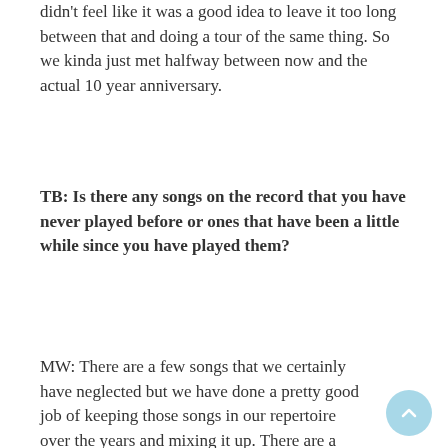didn't feel like it was a good idea to leave it too long between that and doing a tour of the same thing. So we kinda just met halfway between now and the actual 10 year anniversary.
TB: Is there any songs on the record that you have never played before or ones that have been a little while since you have played them?
MW: There are a few songs that we certainly have neglected but we have done a pretty good job of keeping those songs in our repertoire over the years and mixing it up. There are a